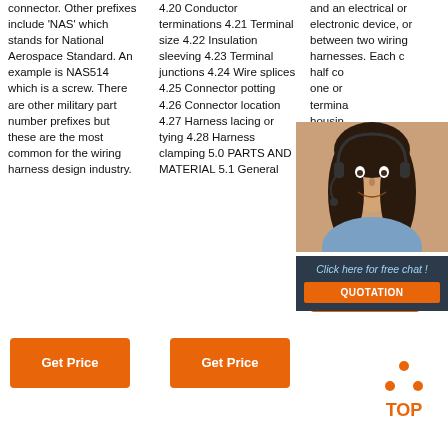connector. Other prefixes include 'NAS' which stands for National Aerospace Standard. An example is NAS514 which is a screw. There are other military part number prefixes but these are the most common for the wiring harness design industry.
4.20 Conductor terminations 4.21 Terminal size 4.22 Insulation sleeving 4.23 Terminal junctions 4.24 Wire splices 4.25 Connector potting 4.26 Connector location 4.27 Harness lacing or tying 4.28 Harness clamping 5.0 PARTS AND MATERIAL 5.1 General
and an electrical or electronic device, or between two wiring harnesses. Each c... half co... one or termina... housin... Termin... Termin... electrio... in a
[Figure (photo): Customer service agent (woman with headset) inside a dark blue chat overlay box with '24/7 Online' header and 'Click here for free chat!' text with QUOTATION button]
Get Price
Get Price
Get Price
[Figure (other): TOP navigation icon - orange dots in triangle pattern above bold orange TOP text]